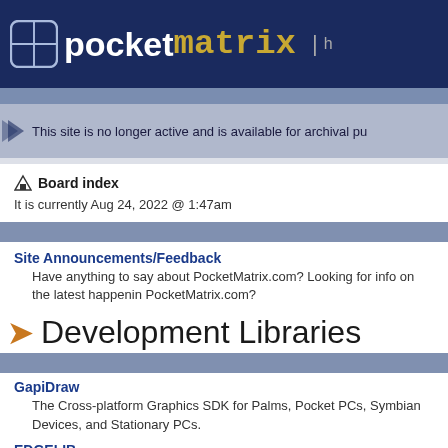pocketmatrix
This site is no longer active and is available for archival pu
Board index
It is currently Aug 24, 2022 @ 1:47am
Site Announcements/Feedback
Have anything to say about PocketMatrix.com? Looking for info on the latest happenin PocketMatrix.com?
Development Libraries
GapiDraw
The Cross-platform Graphics SDK for Palms, Pocket PCs, Symbian Devices, and Stationary PCs.
EDGELIB
Powerful and affordable C++ middleware solution covering true multi-platform 2D, 3D network features for Apple iPhone, Windows Mobile, Symbian S60, UIQ, Linux and Wind desktop.
GledPlay